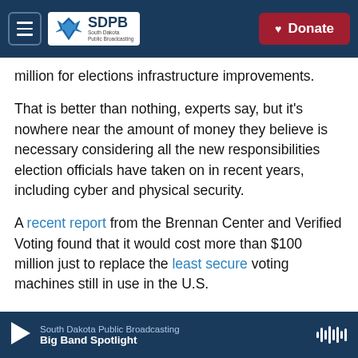SDPB South Dakota Public Broadcasting | Donate
million for elections infrastructure improvements.
That is better than nothing, experts say, but it's nowhere near the amount of money they believe is necessary considering all the new responsibilities election officials have taken on in recent years, including cyber and physical security.
A recent report from the Brennan Center and Verified Voting found that it would cost more than $100 million just to replace the least secure voting machines still in use in the U.S.
South Dakota Public Broadcasting | Big Band Spotlight